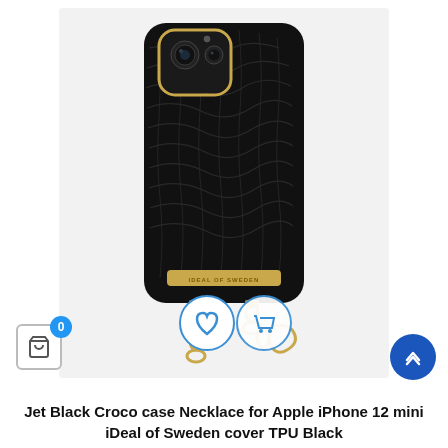[Figure (photo): Product photo of a Jet Black Croco patterned iPhone 12 mini necklace case by iDeal of Sweden. The case is black with crocodile skin texture, gold trim around the camera cutout, gold branded plate at the bottom, and a gold chain necklace attached. Overlaid with a wishlist heart button and an add-to-cart shopping cart button.]
Jet Black Croco case Necklace for Apple iPhone 12 mini iDeal of Sweden cover TPU Black